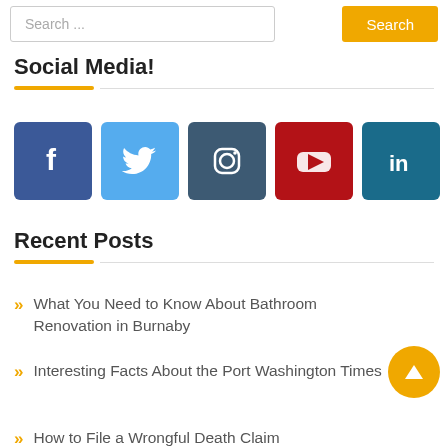Search ...
Social Media!
[Figure (infographic): Five social media icon buttons: Facebook (dark blue), Twitter (light blue), Instagram (dark teal), YouTube (red), LinkedIn (dark blue-teal)]
Recent Posts
What You Need to Know About Bathroom Renovation in Burnaby
Interesting Facts About the Port Washington Times
How to File a Wrongful Death Claim